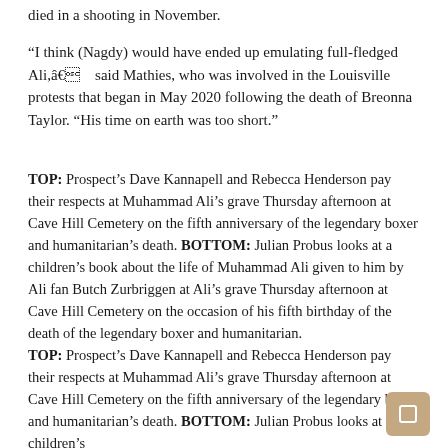died in a shooting in November.
“I think (Nagdy) would have ended up emulating full-fledged Ali,â€ said Mathies, who was involved in the Louisville protests that began in May 2020 following the death of Breonna Taylor. “His time on earth was too short.”
TOP: Prospect’s Dave Kannapell and Rebecca Henderson pay their respects at Muhammad Ali’s grave Thursday afternoon at Cave Hill Cemetery on the fifth anniversary of the legendary boxer and humanitarian’s death. BOTTOM: Julian Probus looks at a children’s book about the life of Muhammad Ali given to him by Ali fan Butch Zurbriggen at Ali’s grave Thursday afternoon at Cave Hill Cemetery on the occasion of his fifth birthday of the death of the legendary boxer and humanitarian.
TOP: Prospect’s Dave Kannapell and Rebecca Henderson pay their respects at Muhammad Ali’s grave Thursday afternoon at Cave Hill Cemetery on the fifth anniversary of the legendary boxer and humanitarian’s death. BOTTOM: Julian Probus looks at a children’s